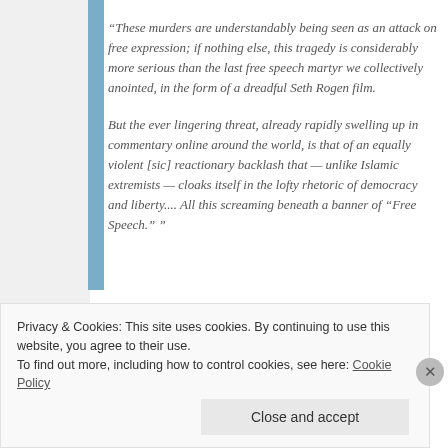“These murders are understandably being seen as an attack on free expression; if nothing else, this tragedy is considerably more serious than the last free speech martyr we collectively anointed, in the form of a dreadful Seth Rogen film.
But the ever lingering threat, already rapidly swelling up in commentary online around the world, is that of an equally violent [sic] reactionary backlash that — unlike Islamic extremists — cloaks itself in the lofty rhetoric of democracy and liberty.... All this screaming beneath a banner of “Free Speech.” ”
Privacy & Cookies: This site uses cookies. By continuing to use this website, you agree to their use.
To find out more, including how to control cookies, see here: Cookie Policy
Close and accept